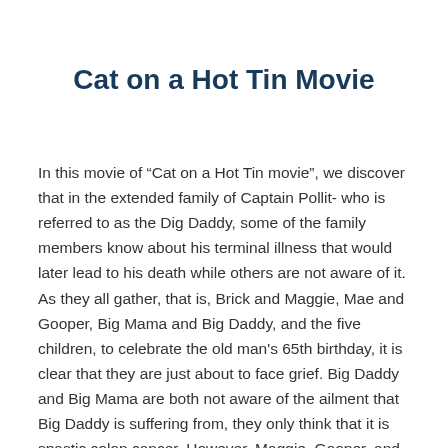Cat on a Hot Tin Movie
In this movie of “Cat on a Hot Tin movie”, we discover that in the extended family of Captain Pollit- who is referred to as the Dig Daddy, some of the family members know about his terminal illness that would later lead to his death while others are not aware of it. As they all gather, that is, Brick and Maggie, Mae and Gooper, Big Mama and Big Daddy, and the five children, to celebrate the old man's 65th birthday, it is clear that they are just about to face grief. Big Daddy and Big Mama are both not aware of the ailment that Big Daddy is suffering from, they only think that it is spastic colon cancer. However, Maggie, Gooper, and Mae are aware of the grieve that awaits them since they know that Big Daddy is suffering from a malignant colon cancer, and he is surely